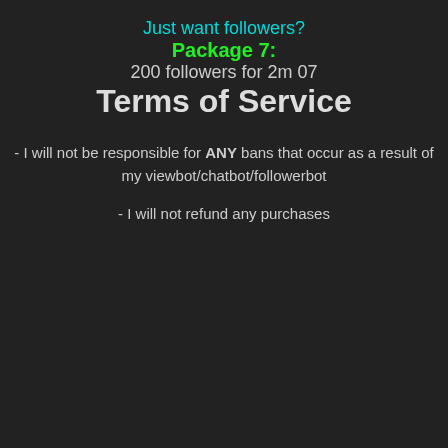Just want followers?
Package 7:
200 followers for 2m 07
Terms of Service
- I will not be responsible for ANY bans that occur as a result of my viewbot/chatbot/followerbot
- I will not refund any purchases